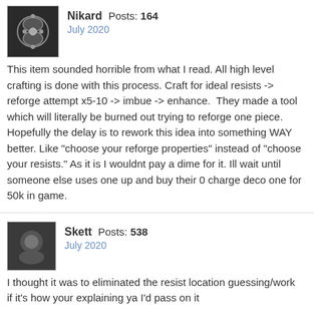Nikard  Posts: 164
July 2020
This item sounded horrible from what I read. All high level crafting is done with this process. Craft for ideal resists -> reforge attempt x5-10 -> imbue -> enhance.  They made a tool which will literally be burned out trying to reforge one piece. Hopefully the delay is to rework this idea into something WAY better. Like "choose your reforge properties" instead of "choose your resists." As it is I wouldnt pay a dime for it. Ill wait until someone else uses one up and buy their 0 charge deco one for 50k in game.
Skett  Posts: 538
July 2020
I thought it was to eliminated the resist location guessing/work
if it's how your explaining ya I'd pass on it
popps  Posts: 3,114
July 2020
Not only that, if it will also come with too low a number of charges, I